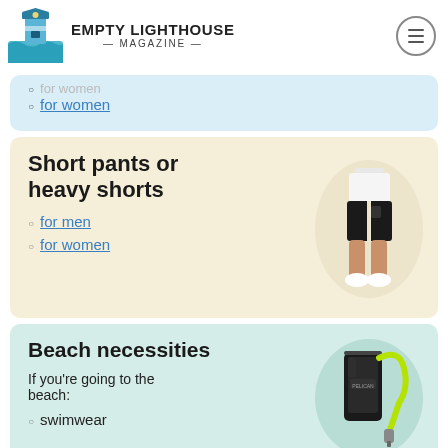EMPTY LIGHTHOUSE MAGAZINE
for women
Short pants or heavy shorts
for men
for women
[Figure (photo): Person wearing black shorts and white sneakers]
Beach necessities
If you're going to the beach:
swimwear
[Figure (photo): Black waterproof phone case with yellow-green lanyard strap]